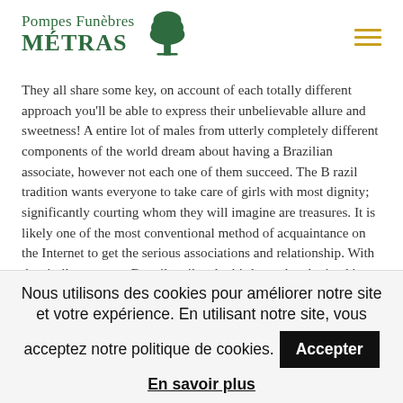[Figure (logo): Pompes Funèbres MÉTRAS logo with green tree icon and hamburger menu icon]
They all share some key, on account of each totally different approach you'll be able to express their unbelievable allure and sweetness! A entire lot of males from utterly completely different components of the world dream about having a Brazilian associate, however not each one of them succeed. The B razil tradition wants everyone to take care of girls with most dignity; significantly courting whom they will imagine are treasures. It is likely one of the most conventional method of acquaintance on the Internet to get the serious associations and relationship. With the similar success, B razil mail-order birdes-to-be obtained into marriage helps suggestions from around the globe. The country as well as has had it is
Nous utilisons des cookies pour améliorer notre site et votre expérience. En utilisant notre site, vous acceptez notre politique de cookies.
En savoir plus